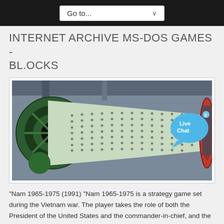Go to...
INTERNET ARCHIVE MS-DOS GAMES - BL.OCKS
[Figure (photo): Industrial photograph of a large rotating cylindrical drum or ball mill, viewed from the open end, showing green metal framing on the left, a perforated/studded surface tapering to the right, and a red ring on the far right end. The equipment appears to be in a factory or industrial facility.]
"Nam 1965-1975 (1991) "Nam 1965-1975 is a strategy game set during the Vietnam war. The player takes the role of both the President of the United States and the commander-in-chief, and the goal of the game is to prevent the South of